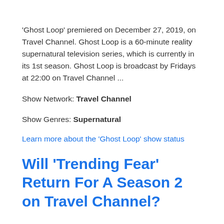'Ghost Loop' premiered on December 27, 2019, on Travel Channel. Ghost Loop is a 60-minute reality supernatural television series, which is currently in its 1st season. Ghost Loop is broadcast by Fridays at 22:00 on Travel Channel ...
Show Network: Travel Channel
Show Genres: Supernatural
Learn more about the 'Ghost Loop' show status
Will 'Trending Fear' Return For A Season 2 on Travel Channel?